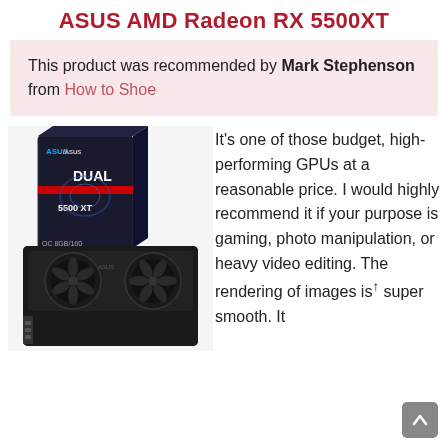ASUS AMD Radeon RX 5500XT
This product was recommended by Mark Stephenson from How to Shoe
[Figure (photo): ASUS AMD Radeon RX 5500XT GPU product photo showing the graphics card and its retail box (DUAL variant, QC 8GB/160)]
It’s one of those budget, high-performing GPUs at a reasonable price. I would highly recommend it if your purpose is gaming, photo manipulation, or heavy video editing. The rendering of images is super smooth. It